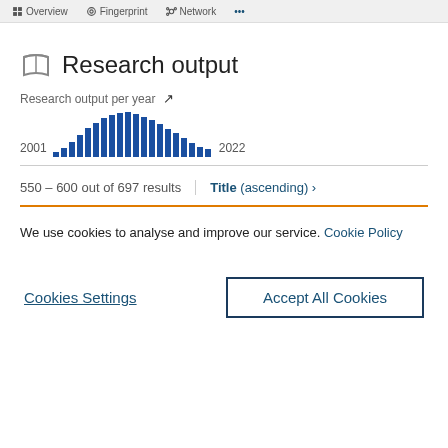Overview  Fingerprint  Network  ...
Research output
Research output per year
[Figure (bar-chart): Research output per year]
550 - 600 out of 697 results
Title (ascending) >
We use cookies to analyse and improve our service. Cookie Policy
Cookies Settings
Accept All Cookies